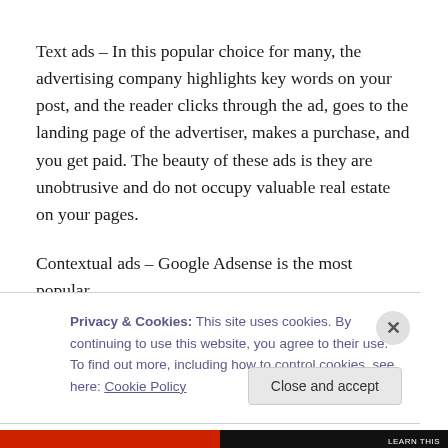Text ads – In this popular choice for many, the advertising company highlights key words on your post, and the reader clicks through the ad, goes to the landing page of the advertiser, makes a purchase, and you get paid. The beauty of these ads is they are unobtrusive and do not occupy valuable real estate on your pages.
Contextual ads – Google Adsense is the most popular.
Privacy & Cookies: This site uses cookies. By continuing to use this website, you agree to their use.
To find out more, including how to control cookies, see here: Cookie Policy